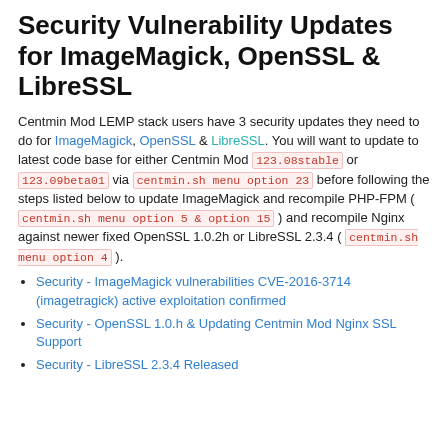Security Vulnerability Updates for ImageMagick, OpenSSL & LibreSSL
Centmin Mod LEMP stack users have 3 security updates they need to do for ImageMagick, OpenSSL & LibreSSL. You will want to update to latest code base for either Centmin Mod 123.08stable or 123.09beta01 via centmin.sh menu option 23 before following the steps listed below to update ImageMagick and recompile PHP-FPM ( centmin.sh menu option 5 & option 15 ) and recompile Nginx against newer fixed OpenSSL 1.0.2h or LibreSSL 2.3.4 ( centmin.sh menu option 4 ).
Security - ImageMagick vulnerabilities CVE-2016-3714 (imagetragick) active exploitation confirmed
Security - OpenSSL 1.0.h & Updating Centmin Mod Nginx SSL Support
Security - LibreSSL 2.3.4 Released